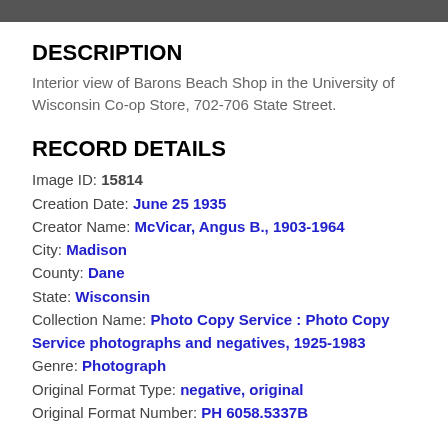[Figure (photo): Partial photo visible at top of page, dark/grayscale]
DESCRIPTION
Interior view of Barons Beach Shop in the University of Wisconsin Co-op Store, 702-706 State Street.
RECORD DETAILS
Image ID: 15814
Creation Date: June 25 1935
Creator Name: McVicar, Angus B., 1903-1964
City: Madison
County: Dane
State: Wisconsin
Collection Name: Photo Copy Service : Photo Copy Service photographs and negatives, 1925-1983
Genre: Photograph
Original Format Type: negative, original
Original Format Number: PH 6058.5337B